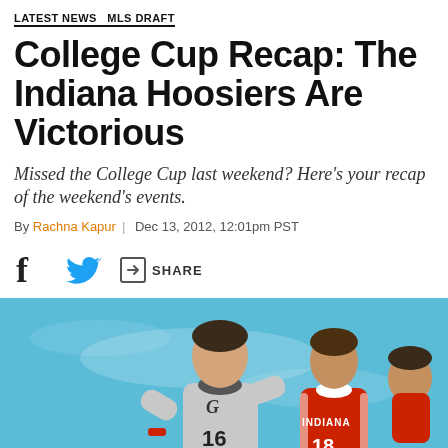LATEST NEWS  MLS DRAFT
College Cup Recap: The Indiana Hoosiers Are Victorious
Missed the College Cup last weekend? Here's your recap of the weekend's events.
By Rachna Kapur | Dec 13, 2012, 12:01pm PST
[Figure (other): Social share icons: Facebook, Twitter, and a generic share button with SHARE text]
[Figure (photo): Two soccer players running on a light blue background. Left player wears a gray Georgetown jersey (#16), right player wears a red Indiana jersey (#18).]